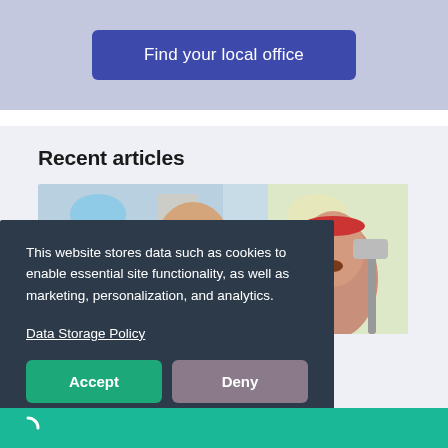[Figure (screenshot): Blue-purple banner with 'Find your local office' button]
Recent articles
[Figure (photo): Two people looking surprised, standing in front of a painted wall with paint supplies]
This website stores data such as cookies to enable essential site functionality, as well as marketing, personalization, and analytics.
Data Storage Policy
Accept
Deny